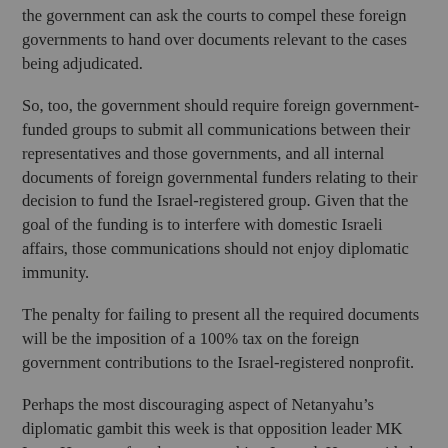the government can ask the courts to compel these foreign governments to hand over documents relevant to the cases being adjudicated.
So, too, the government should require foreign government-funded groups to submit all communications between their representatives and those governments, and all internal documents of foreign governmental funders relating to their decision to fund the Israel-registered group. Given that the goal of the funding is to interfere with domestic Israeli affairs, those communications should not enjoy diplomatic immunity.
The penalty for failing to present all the required documents will be the imposition of a 100% tax on the foreign government contributions to the Israel-registered nonprofit.
Perhaps the most discouraging aspect of Netanyahu’s diplomatic gambit this week is that opposition leader MK Isaac Herzog refused to support him. Instead, Herzog sided with Gabriel. He insisted that Netanyahu harmed Israel’s relations with Germany by demanding to be treated in a manner that comports with international norms.